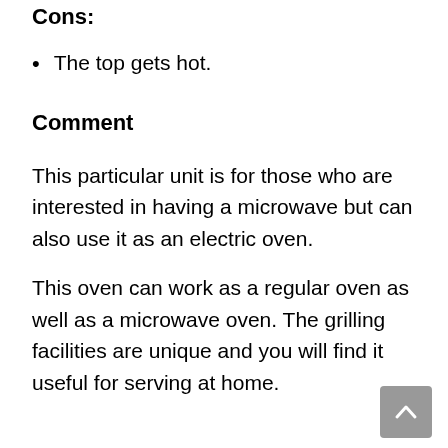Cons:
The top gets hot.
Comment
This particular unit is for those who are interested in having a microwave but can also use it as an electric oven.
This oven can work as a regular oven as well as a microwave oven. The grilling facilities are unique and you will find it useful for serving at home.